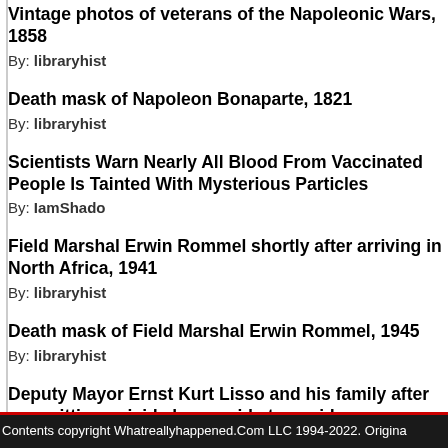Vintage photos of veterans of the Napoleonic Wars, 1858
By: libraryhist
Death mask of Napoleon Bonaparte, 1821
By: libraryhist
Scientists Warn Nearly All Blood From Vaccinated People Is Tainted With Mysterious Particles
By: IamShado
Field Marshal Erwin Rommel shortly after arriving in North Africa, 1941
By: libraryhist
Death mask of Field Marshal Erwin Rommel, 1945
By: libraryhist
Deputy Mayor Ernst Kurt Lisso and his family after committing suicide by cyanide to avoid capture in Leipzig, 1945
Contents copyright Whatreallyhappened.Com LLC 1994-2022. Origina